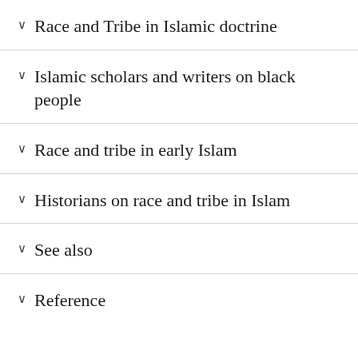Race and Tribe in Islamic doctrine
Islamic scholars and writers on black people
Race and tribe in early Islam
Historians on race and tribe in Islam
See also
Reference